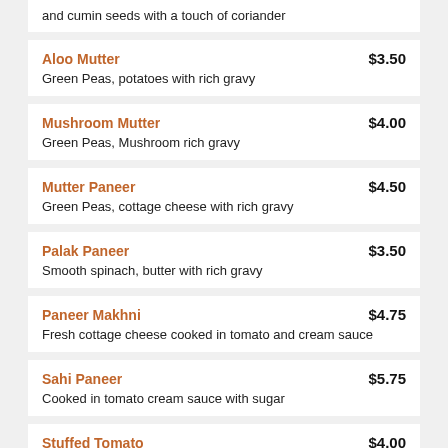and cumin seeds with a touch of coriander
Aloo Mutter - $3.50 - Green Peas, potatoes with rich gravy
Mushroom Mutter - $4.00 - Green Peas, Mushroom rich gravy
Mutter Paneer - $4.50 - Green Peas, cottage cheese with rich gravy
Palak Paneer - $3.50 - Smooth spinach, butter with rich gravy
Paneer Makhni - $4.75 - Fresh cottage cheese cooked in tomato and cream sauce
Sahi Paneer - $5.75 - Cooked in tomato cream sauce with sugar
Stuffed Tomato - $4.00 - Tomato barrels encasing a blend of cottage cheese & spicy slowly cooked with white gravy